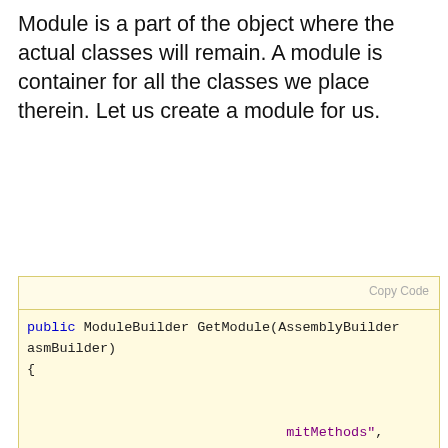Module is a part of the object where the actual classes will remain. A module is container for all the classes we place therein. Let us create a module for us.
[Figure (screenshot): Code block with yellow background showing C# code: public ModuleBuilder GetModule(AssemblyBuilder asmBuilder) { ... with a 'Copy Code' button at top right. Partially obscured by cookie banner.]
Like every other website we use cookies. By using our site you acknowledge that you have read and understand our Cookie Policy, Privacy Policy, and our Terms of Service. Learn more
a and the e exported to.